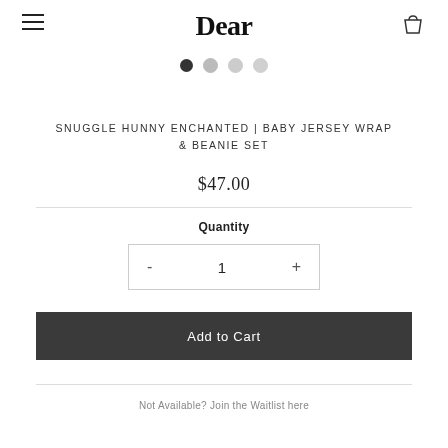Dear
[Figure (other): Image carousel navigation dots: one filled dark circle (active) and three lighter circles]
SNUGGLE HUNNY ENCHANTED | BABY JERSEY WRAP & BEANIE SET
$47.00
Quantity
- 1 +
Add to Cart
Not Available? Join the Waitlist here